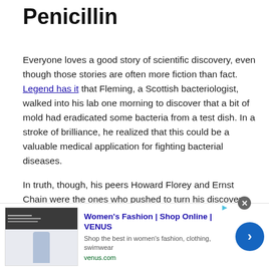Penicillin
Everyone loves a good story of scientific discovery, even though those stories are often more fiction than fact. Legend has it that Fleming, a Scottish bacteriologist, walked into his lab one morning to discover that a bit of mold had eradicated some bacteria from a test dish. In a stroke of brilliance, he realized that this could be a valuable medical application for fighting bacterial diseases.
In truth, though, his peers Howard Florey and Ernst Chain were the ones who pushed to turn his discovery, penicillin, into a medical breakthrough—Fleming didn't really believe in its medicinal uses. A French medical student named
[Figure (infographic): Advertisement banner for Women's Fashion at VENUS. Shows store image thumbnail, bold headline 'Women's Fashion | Shop Online | VENUS', description 'Shop the best in women's fashion, clothing, swimwear', URL 'venus.com', and a blue circular arrow button. Has a close (x) button and a small ad indicator arrow.]